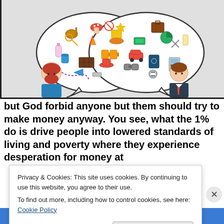[Figure (illustration): Illustrated image showing two cartoon characters (a bearded hipster figure on the left and a businessman on the right) with overlapping speech bubbles forming a Venn diagram filled with colorful 3D icons representing various objects (guitar, car, money, passport, binoculars, watch, calculator, food, etc.)]
but God forbid anyone but them should try to make money anyway. You see, what the 1% do is drive people into lowered standards of living and poverty where they experience desperation for money at
Privacy & Cookies: This site uses cookies. By continuing to use this website, you agree to their use.
To find out more, including how to control cookies, see here: Cookie Policy
Close and accept